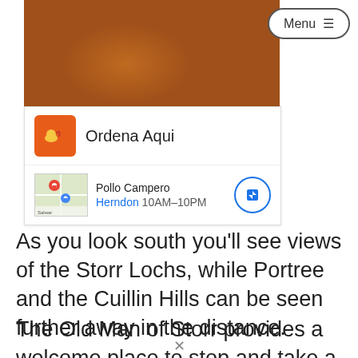[Figure (screenshot): Screenshot of a webpage showing a food photo of fried chicken nuggets with dipping sauce, a Menu button, and an embedded ad for Pollo Campero with 'Ordena Aqui' button and map showing Herndon 10AM-10PM location.]
As you look south you'll see views of the Storr Lochs, while Portree and the Cuillin Hills can be seen further away in the distance.
The Old Man of Storr provides a welcome place to stop and take a break mid-way on your walk and the photos you take there are